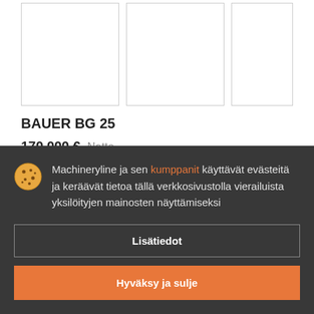[Figure (photo): Three product image thumbnails showing BAUER BG 25 drilling equipment]
BAUER BG 25
170 000 €  Netto
Porauslaite
Vuosi: 2001
Machineryline ja sen kumppanit käyttävät evästeitä ja keräävät tietoa tällä verkkosivustolla vierailuista yksilöityjen mainosten näyttämiseksi
Lisätiedot
Hyväksy ja sulje